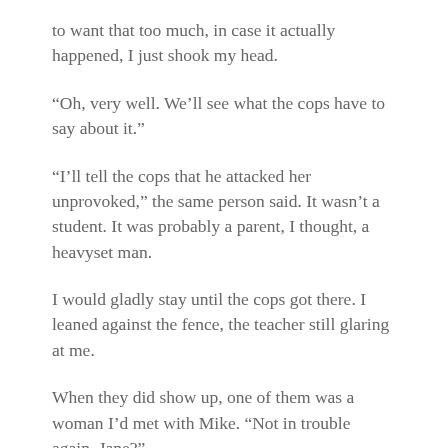to want that too much, in case it actually happened, I just shook my head.
“Oh, very well. We’ll see what the cops have to say about it.”
“I’ll tell the cops that he attacked her unprovoked,” the same person said. It wasn’t a student. It was probably a parent, I thought, a heavyset man.
I would gladly stay until the cops got there. I leaned against the fence, the teacher still glaring at me.
When they did show up, one of them was a woman I’d met with Mike. “Not in trouble again, Jane?”
“See…”
I could tell the teacher was about to go onto a rant